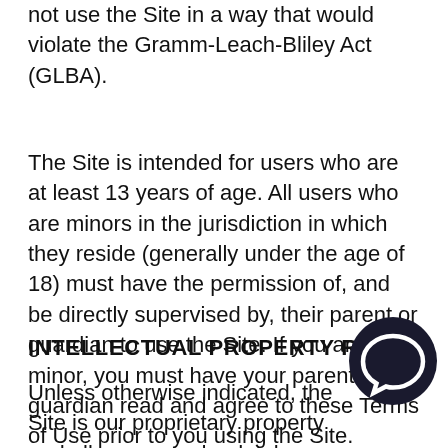not use the Site in a way that would violate the Gramm-Leach-Bliley Act (GLBA).
The Site is intended for users who are at least 13 years of age. All users who are minors in the jurisdiction in which they reside (generally under the age of 18) must have the permission of, and be directly supervised by, their parent or guardian to use the Site. If you are a minor, you must have your parent or guardian read and agree to these Terms of Use prior to you using the Site.
INTELLECTUAL PROPERTY RIGHTS
Unless otherwise indicated, the Site is our proprietary property and all source code, databases, functionality, software, website designs, audio, video, text, photographs